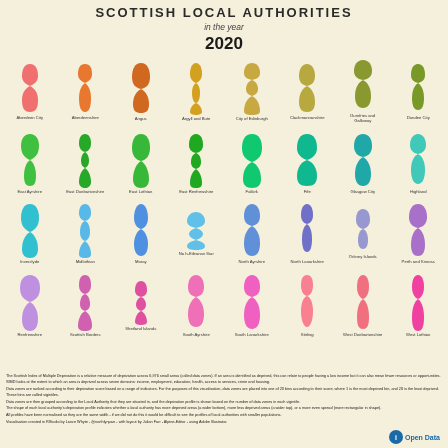SCOTTISH LOCAL AUTHORITIES in the year 2020
[Figure (infographic): Violin plot infographic showing deprivation profiles for 32 Scottish Local Authorities in 2020, displayed as coloured violin/vase shapes arranged in 4 rows of 8 shapes each. Each shape represents a local authority's deprivation profile based on the Scottish Index of Multiple Deprivation. Colours: row 1 salmon/orange/amber/gold/khaki/olive/green tones; row 2 bright greens and teals; row 3 teals/blues/purple; row 4 lilac/pink/magenta tones.]
The Scottish Index of Multiple Deprivation is a relative measure of deprivation across 6,976 small areas (called data zones). If an area is identified as deprived, this can relate to people having a low income but it can also mean fewer resources or opportunities. SIMD looks at the extent to which an area is deprived across seven domains: income, employment, education, health, access to services, crime and housing.
Data zones are ranked according to their deprivation score based on a range of indicators. For the purposes of this visualisation, data zones are placed into one of 20 bins according to their score, where 1 is the most deprived bin, and 20 is the least deprived. These bins are called vigintiles.
Data zones are then grouped according to the Local Authority that they are situated in, and the deprivation profile is shown based on the number of data zones in each vigintile.
The shape of each local authority's deprivation profile indicates whether a local authority has more deprived areas (a wider bottom), more less deprived areas (a wider top), or a more even spread (more rectangular in shape).
All profiles have been normalised so they are the same width - if we did not do this it would be difficult to see the profiles of local authorities with smaller populations.
Visualisation created in RStudio by Lance Whyte - @northlynparr - with layout by Julian Farr - Alpine-Editor - using Adobe Illustrator.
Open Data